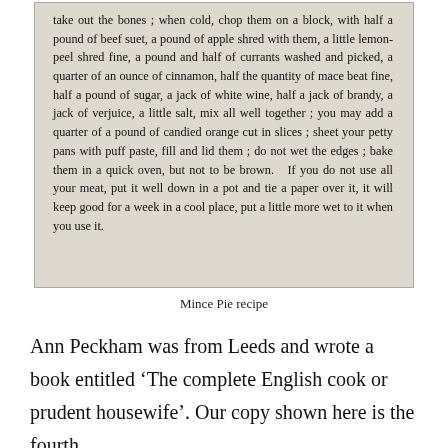[Figure (photo): Scanned page from an old book showing a Mince Pie recipe in historical typeface, reading: take out the bones; when cold, chop them on a block, with half a pound of beef suet, a pound of apple shred with them, a little lemon-peel shred fine, a pound and half of currants washed and picked, a quarter of an ounce of cinnamon, half the quantity of mace beat fine, half a pound of sugar, a jack of white wine, half a jack of brandy, a jack of verjuice, a little salt, mix all well together; you may add a quarter of a pound of candied orange cut in slices; sheet your petty pans with puff paste, fill and lid them; do not wet the edges; bake them in a quick oven, but not to be brown. If you do not use all your meat, put it well down in a pot and tie a paper over it, it will keep good for a week in a cool place, put a little more wet to it when you use it.]
Mince Pie recipe
Ann Peckham was from Leeds and wrote a book entitled 'The complete English cook or prudent housewife'. Our copy shown here is the fourth